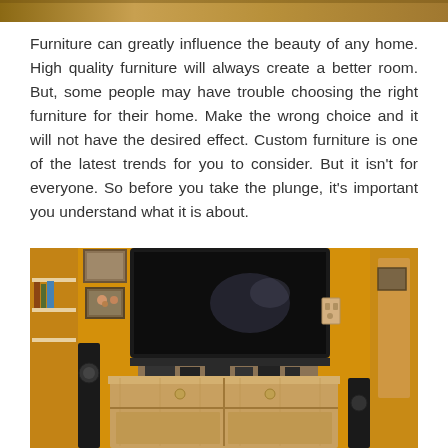[Figure (photo): Partial top edge of a photo, cropped at the top of the page]
Furniture can greatly influence the beauty of any home. High quality furniture will always create a better room. But, some people may have trouble choosing the right furniture for their home. Make the wrong choice and it will not have the desired effect. Custom furniture is one of the latest trends for you to consider. But it isn't for everyone. So before you take the plunge, it's important you understand what it is about.
[Figure (photo): Living room with a wooden TV cabinet/dresser topped by a large flat-screen television, yellow walls decorated with framed photos, and speakers on the sides]